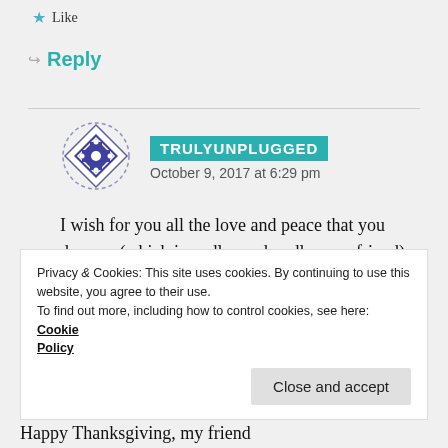★ Like
↪ Reply
TRULYUNPLUGGED
October 9, 2017 at 6:29 pm
I wish for you all the love and peace that you deserve (which is oodles and oodles, my friend). ❤
★ Like
Privacy & Cookies: This site uses cookies. By continuing to use this website, you agree to their use. To find out more, including how to control cookies, see here: Cookie Policy
Close and accept
Happy Thanksgiving, my friend